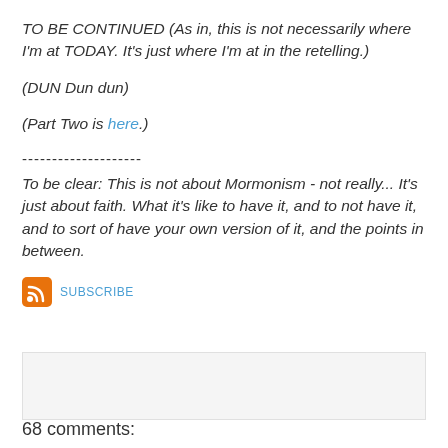TO BE CONTINUED (As in, this is not necessarily where I'm at TODAY.  It's just where I'm at in the retelling.)
(DUN Dun dun)
(Part Two is here.)
--------------------
To be clear: This is not about Mormonism - not really...  It's just about faith.  What it's like to have it, and to not have it, and to sort of have your own version of it, and the points in between.
[Figure (other): RSS feed subscribe button with orange RSS icon and blue SUBSCRIBE text]
68 comments: